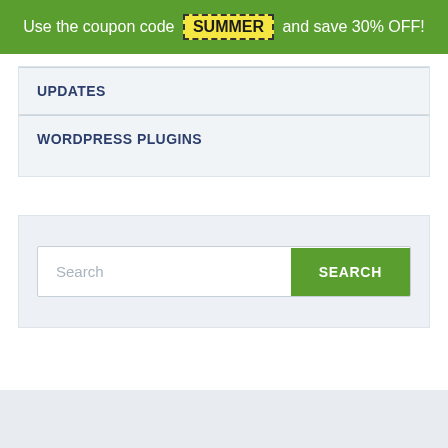Use the coupon code SUMMER and save 30% OFF!
UPDATES
WORDPRESS PLUGINS
[Figure (screenshot): Search input field with placeholder text 'Search' and a green 'SEARCH' button]